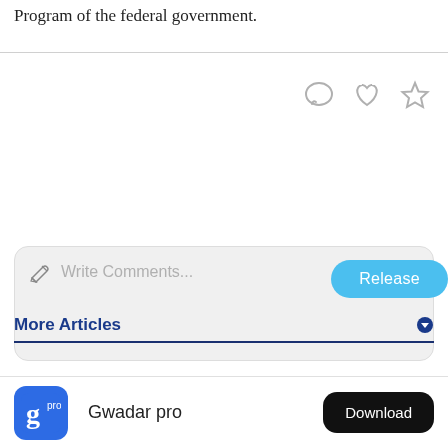Program of the federal government.
[Figure (screenshot): Social interaction icons: speech bubble (comment), heart (like), star (favorite)]
[Figure (screenshot): Comment input box with pencil icon and placeholder text 'Write Comments...' and a 'Release' button]
More Articles
[Figure (logo): Gwadar pro app icon and Download button in footer]